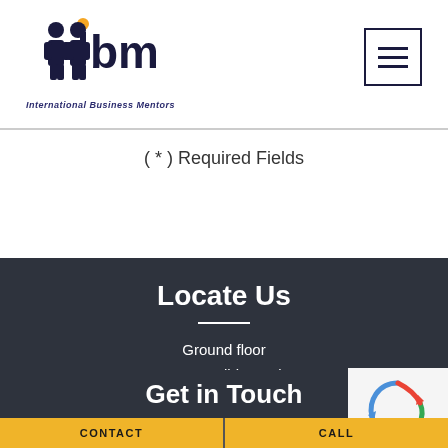[Figure (logo): IBm International Business Mentors logo with orange dot and dark blue figures, hamburger menu icon top right]
( * ) Required Fields
Locate Us
Ground floor
470 St Kilda road
Melbourne, Vic 3004
Get in Touch
[Figure (other): reCAPTCHA widget]
CONTACT | CALL